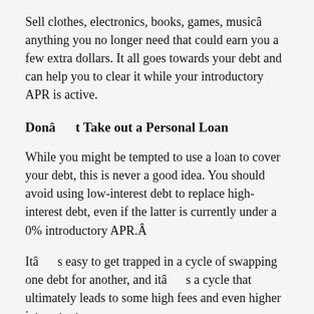Sell clothes, electronics, books, games, musicâ anything you no longer need that could earn you a few extra dollars. It all goes towards your debt and can help you to clear it while your introductory APR is active.
Donâ t Take out a Personal Loan
While you might be tempted to use a loan to cover your debt, this is never a good idea. You should avoid using low-interest debt to replace high-interest debt, even if the latter is currently under a 0% introductory APR.Â
Itâ s easy to get trapped in a cycle of swapping one debt for another, and itâ s a cycle that ultimately leads to some high fees and even higher interest rates.